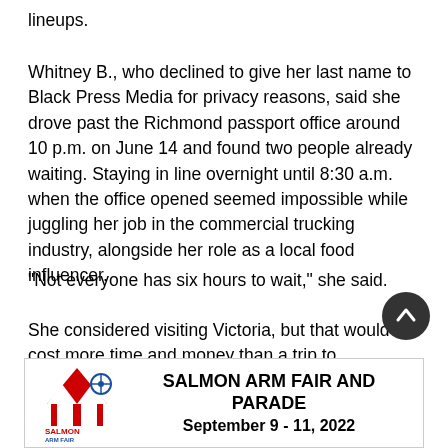lineups.
Whitney B., who declined to give her last name to Black Press Media for privacy reasons, said she drove past the Richmond passport office around 10 p.m. on June 14 and found two people already waiting. Staying in line overnight until 8:30 a.m. when the office opened seemed impossible while juggling her job in the commercial trucking industry, alongside her role as a local food influencer.
“Not everyone has six hours to wait,” she said.
She considered visiting Victoria, but that would cost more time and money than a trip to Edmonton, she said. She disqualified the passport office in Kelowna because it d…
[Figure (infographic): Salmon Arm Fair and Parade advertisement banner. Shows carnival tent logo on left, text reads SALMON ARM FAIR AND PARADE September 9 - 11, 2022]